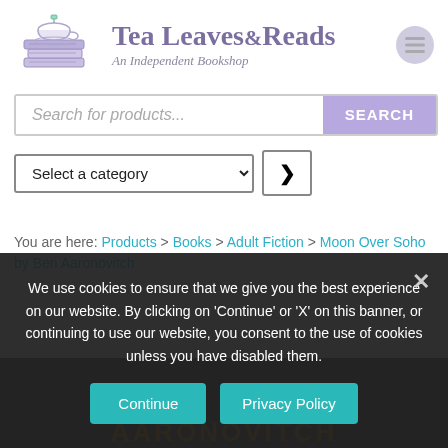[Figure (logo): Tea Leaves & Reads logo with teacup on stacked books illustration, site name and tagline 'An Independent Bookshop', and hamburger menu icon]
Search for products...
Select a category
You are here: Products > Books > Adult Fiction > Moon Over Soho by Ben Aaronovitch
We use cookies to ensure that we give you the best experience on our website. By clicking on 'Continue' or 'X' on this banner, or continuing to use our website, you consent to the use of cookies unless you have disabled them.
Continue
Privacy Policy